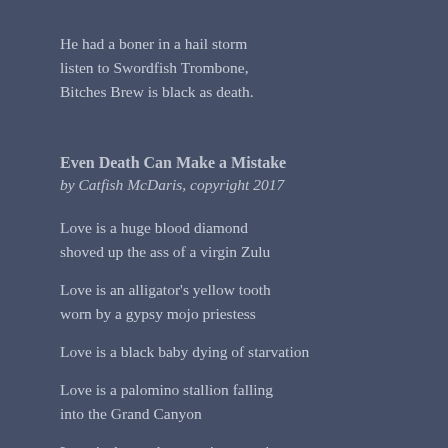He had a boner in a hail storm
listen to Swordfish Trombone,
Bitches Brew is black as death.
Even Death Can Make a Mistake
by Catfish McDaris, copyright 2017
Love is a huge blood diamond
shoved up the ass of a virgin Zulu
Love is an alligator's yellow tooth
worn by a gypsy mojo priestess
Love is a black baby dying of starvation
Love is a palomino stallion falling
into the Grand Canyon
Love is the workers getting overtime
wages on the Great Wall of China